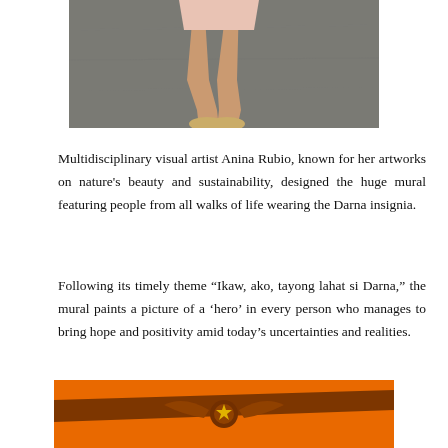[Figure (photo): Partial photo of a person standing on pavement, showing legs and feet in tan/beige loafers and a pink/peach skirt or shorts, cropped at the waist.]
Multidisciplinary visual artist Anina Rubio, known for her artworks on nature's beauty and sustainability, designed the huge mural featuring people from all walks of life wearing the Darna insignia.
Following its timely theme “Ikaw, ako, tayong lahat si Darna,” the mural paints a picture of a ‘hero’ in every person who manages to bring hope and positivity amid today’s uncertainties and realities.
[Figure (photo): Bottom portion of an orange mural with a brown/maroon Darna eagle/wing insignia logo visible against the bright orange background.]